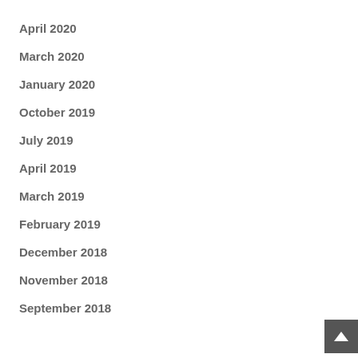April 2020
March 2020
January 2020
October 2019
July 2019
April 2019
March 2019
February 2019
December 2018
November 2018
September 2018